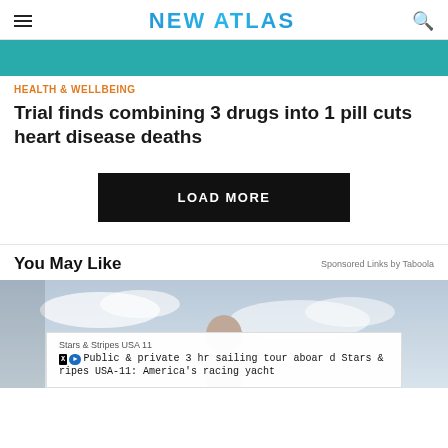NEW ATLAS
[Figure (photo): Teal/turquoise colored image bar at top of article]
HEALTH & WELLBEING
Trial finds combining 3 drugs into 1 pill cuts heart disease deaths
LOAD MORE
You May Like
Sponsored Links by Taboola
[Figure (photo): Advertisement image with person and overlay: Stars & Stripes USA 11 - Public & private 3 hr sailing tour aboard Stars & Stripes USA-11: America's racing yacht]